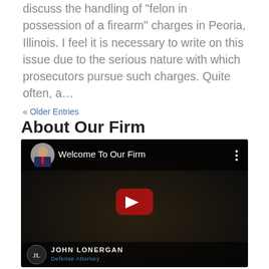This is the first post in a series which will discuss the handling of “felon in possession of a firearm” charges in Peoria, Illinois. I feel it is necessary to write on this issue due to the serious nature with which prosecutors pursue such charges. Quite often, a…
« Older Entries
About Our Firm
[Figure (screenshot): YouTube video embed titled 'Welcome To Our Firm' showing a man in a dark suit. Bottom bar displays logo, 'JOHN LONERGAN', and 'Defense Attorney'.]